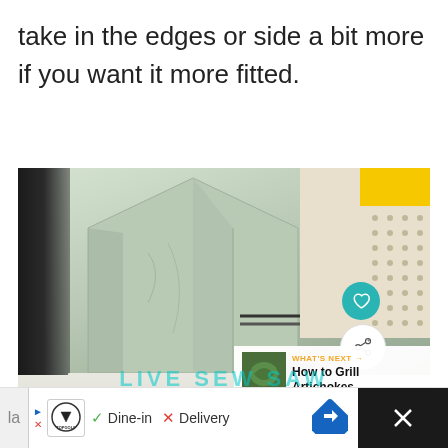take in the edges or side a bit more if you want it more fitted.
[Figure (photo): Photo of a light gray/sage fabric cover (likely a stand mixer cover) sitting on a white countertop. The cover has a triangular/tent shape. In the background there is a pegboard wall with yellow storage bins. On the right side are floating UI buttons: a teal heart button and a white share button. A 'What's Next' overlay in the bottom right shows a thumbnail and text 'How to Grill Artichokes'. A watermark 'LIVE SEW SAW' appears at the bottom of the image. At the very bottom is an ad banner for TopGolf showing 'Dine-in' and 'Delivery' options.]